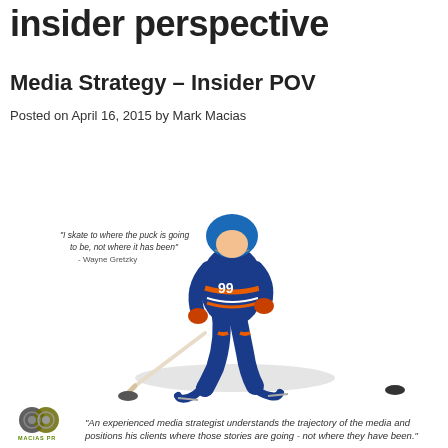insider perspective
Media Strategy – Insider POV
Posted on April 16, 2015 by Mark Macias
[Figure (illustration): Wayne Gretzky in Edmonton Oilers uniform skating with hockey stick and puck, with quote 'I skate to where the puck is going to be, not where it has been' - Wayne Gretzky. A hockey puck is visible to the lower right.]
"An experienced media strategist understands the trajectory of the media and positions his clients where those stories are going - not where they have been."